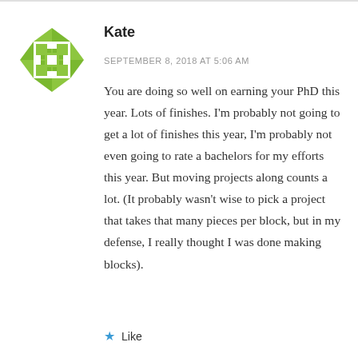[Figure (illustration): Green geometric avatar/icon with diamond and triangle pattern, representing user Kate]
Kate
SEPTEMBER 8, 2018 AT 5:06 AM
You are doing so well on earning your PhD this year. Lots of finishes. I'm probably not going to get a lot of finishes this year, I'm probably not even going to rate a bachelors for my efforts this year. But moving projects along counts a lot. (It probably wasn't wise to pick a project that takes that many pieces per block, but in my defense, I really thought I was done making blocks).
Like